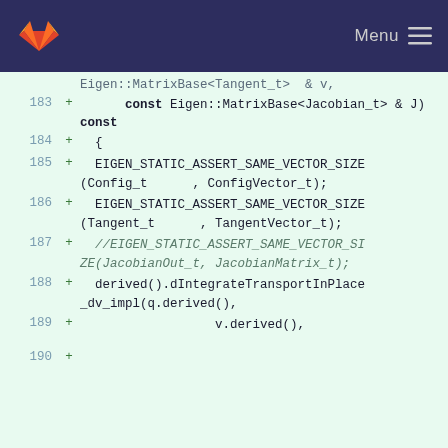GitLab — Menu
Code diff view showing lines 183–190 of a C++ source file with Eigen library usage and dIntegrateTransportInPlace_dv_impl function call.
183  +      const Eigen::MatrixBase<Jacobian_t> & J) const
184  +  {
185  +  EIGEN_STATIC_ASSERT_SAME_VECTOR_SIZE(Config_t      , ConfigVector_t);
186  +  EIGEN_STATIC_ASSERT_SAME_VECTOR_SIZE(Tangent_t      , TangentVector_t);
187  +  //EIGEN_STATIC_ASSERT_SAME_VECTOR_SIZE(JacobianOut_t, JacobianMatrix_t);
188  +  derived().dIntegrateTransportInPlace_dv_impl(q.derived(),
189  +                  v.derived(),
190  +